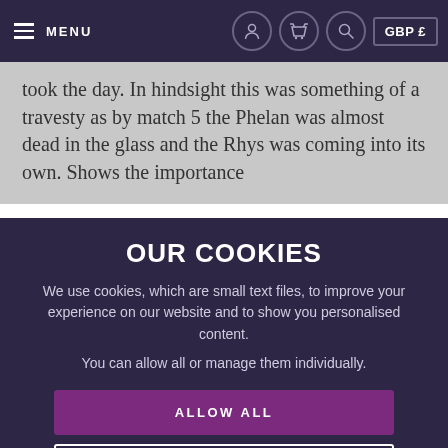MENU | GBP £
took the day. In hindsight this was something of a travesty as by match 5 the Phelan was almost dead in the glass and the Rhys was coming into its own. Shows the importance
OUR COOKIES
We use cookies, which are small text files, to improve your experience on our website and to show you personalised content.
You can allow all or manage them individually.
ALLOW ALL
MANAGE COOKIES